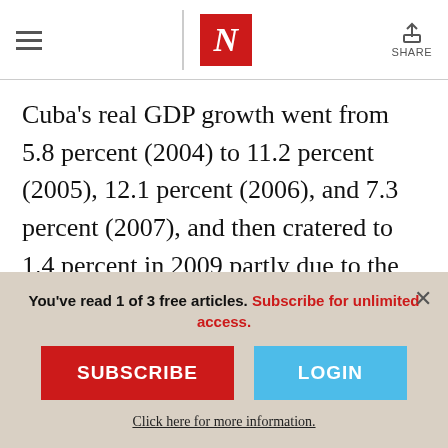The Nation — N logo, hamburger menu, Share button
Cuba's real GDP growth went from 5.8 percent (2004) to 11.2 percent (2005), 12.1 percent (2006), and 7.3 percent (2007), and then cratered to 1.4 percent in 2009 partly due to the Wall Street economic crisis before crawling back toward 3 percent in 2013. More important, for decades Cuba has ranked among the countries in the High Human
You've read 1 of 3 free articles. Subscribe for unlimited access.
SUBSCRIBE
LOGIN
Click here for more information.